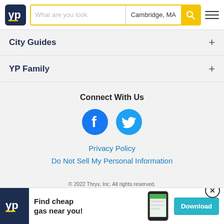YP header with logo, search bar (What are you look..., Cambridge, MA), search button, hamburger menu
City Guides
YP Family
Connect With Us
[Figure (logo): Facebook and Twitter social media icon circles in blue]
Privacy Policy
Do Not Sell My Personal Information
© 2022 Thryv, Inc. All rights reserved.
YP, the YP logo and all other YP marks contained herein are trademarks of YP LLC and/or YP affiliated companies.
All ... ers.
[Figure (screenshot): YP app advertisement banner: Find cheap gas near you! with Download button]